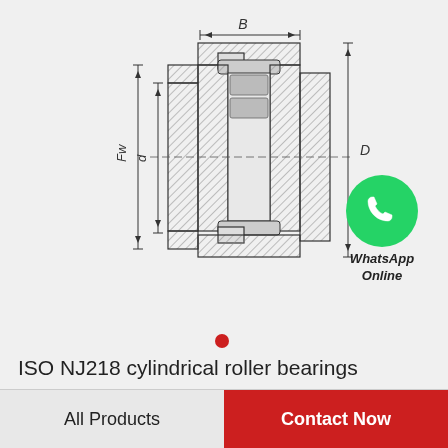[Figure (engineering-diagram): Technical cross-section drawing of ISO NJ218 cylindrical roller bearing with dimension labels B (width), D (outer diameter), d (inner diameter), and Fw (flange width). Shows hatched sections indicating the bearing races and rollers.]
[Figure (other): WhatsApp Online contact badge with green circular phone icon and text 'WhatsApp Online']
ISO NJ218 cylindrical roller bearings
All Products
Contact Now